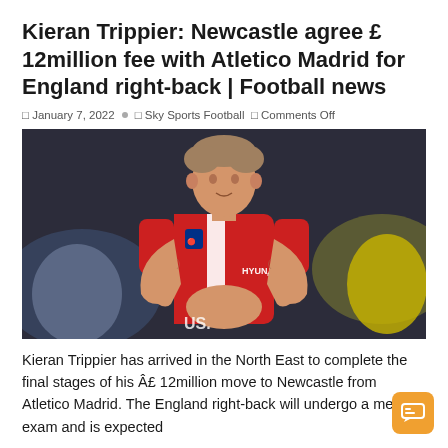Kieran Trippier: Newcastle agree £ 12million fee with Atletico Madrid for England right-back | Football news
January 7, 2022  Sky Sports Football  Comments Off
[Figure (photo): Kieran Trippier in red and white Atletico Madrid kit applauding, with Hyundai sponsor visible on shirt]
Kieran Trippier has arrived in the North East to complete the final stages of his Â£ 12million move to Newcastle from Atletico Madrid. The England right-back will undergo a medical exam and is expected